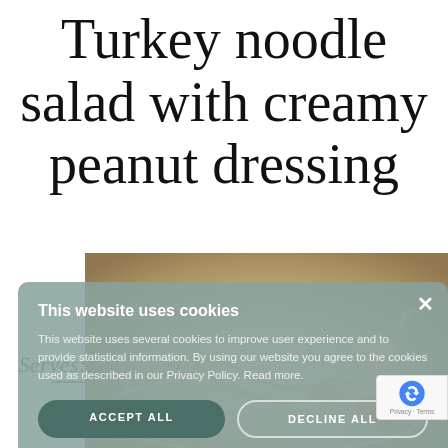Turkey noodle salad with creamy peanut dressing
Serves: 4 · Time: 40 min
[Figure (photo): Food photo showing turkey noodle salad with vegetables and noodles]
[Figure (screenshot): Cookie consent overlay dialog with title 'This website uses cookies', body text, Accept All and Decline All buttons, and Show Details option]